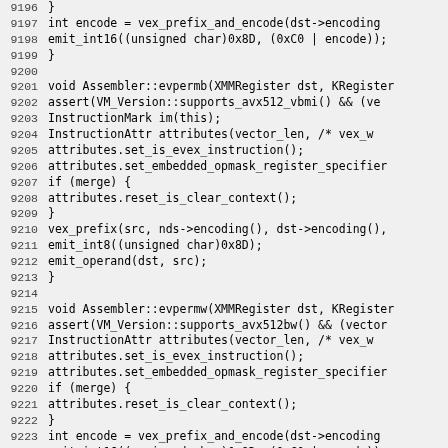Source code listing lines 9196-9225, C++ assembler code for evpermb and evpermw functions